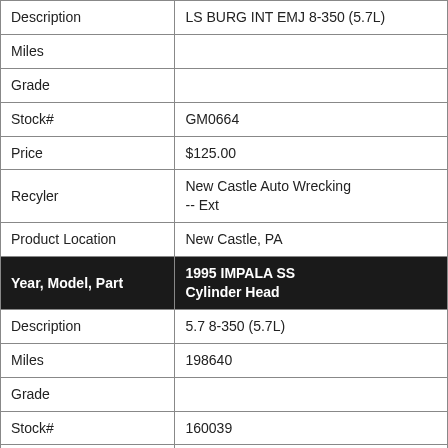| Description | LS BURG INT EMJ 8-350 (5.7L) |
| Miles |  |
| Grade |  |
| Stock# | GM0664 |
| Price | $125.00 |
| Recyler | New Castle Auto Wrecking
-- Ext |
| Product Location | New Castle, PA |
| Year, Model, Part | 1995 IMPALA SS
Cylinder Head |
| Description | 5.7 8-350 (5.7L) |
| Miles | 198640 |
| Grade |  |
| Stock# | 160039 |
| Price | Call |